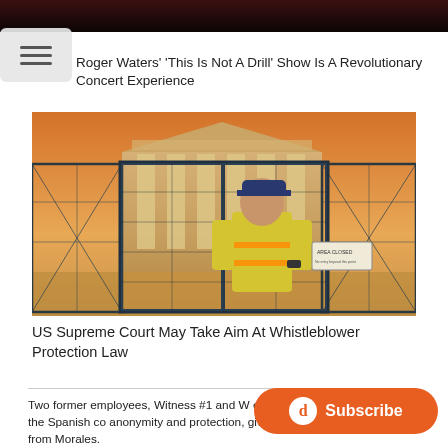[Figure (photo): Dark background image strip at the top of the page, partially visible.]
Roger Waters' 'This Is Not A Drill' Show Is A Revolutionary Concert Experience
[Figure (photo): Photo of a security guard in a yellow safety vest standing in front of chain-link fencing barriers near the US Supreme Court building, during a hazy/smoky day with orange sky.]
US Supreme Court May Take Aim At Whistleblower Protection Law
Two former employees, Witness #1 and W evidence in that case, and the Spanish co anonymity and protection, given the threat of retaliation from Morales.